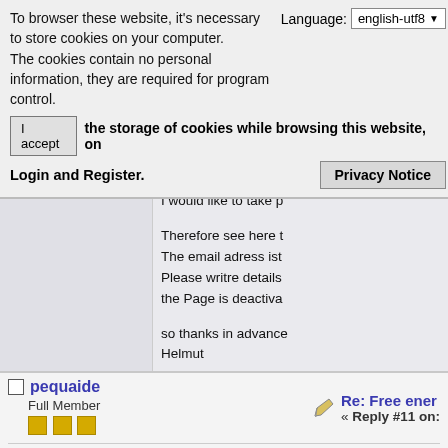To browser these website, it's necessary to store cookies on your computer.
The cookies contain no personal information, they are required for program control.
Language: english-utf8
I accept  the storage of cookies while browsing this website, on
Login and Register.
Privacy Notice
But this is just image...
I would like to take p
Therefore see here t
The email adress ist
Please writre details
the Page is deactiva
so thanks in advance
Helmut
pequaide
Full Member
Re: Free ener
« Reply #11 on:
I can understand you